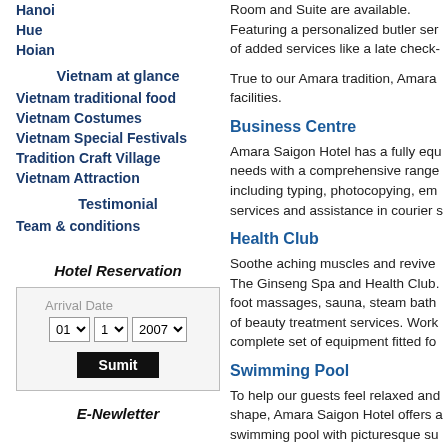Hanoi
Hue
Hoian
Vietnam at glance
Vietnam traditional food
Vietnam Costumes
Vietnam Special Festivals
Tradition Craft Village
Vietnam Attraction
Testimonial
Team & conditions
Hotel Reservation
Arrival Date
01  1  2007  Sumit
E-Newletter
Room and Suite are available. Featuring a personalized butler ser of added services like a late check-
True to our Amara tradition, Amara facilities.
Business Centre
Amara Saigon Hotel has a fully equ needs with a comprehensive range including typing, photocopying, em services and assistance in courier s
Health Club
Soothe aching muscles and revive The Ginseng Spa and Health Club. foot massages, sauna, steam bath of beauty treatment services. Work complete set of equipment fitted fo
Swimming Pool
To help our guests feel relaxed and shape, Amara Saigon Hotel offers a swimming pool with picturesque su Our hospitable poolside staff are al serve you.